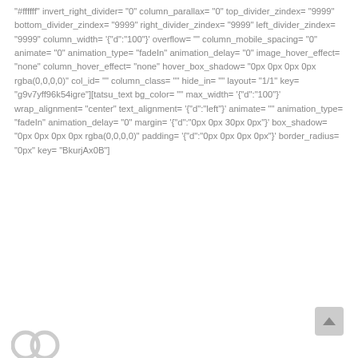"#ffffff" invert_right_divider= "0" column_parallax= "0" top_divider_zindex= "9999" bottom_divider_zindex= "9999" right_divider_zindex= "9999" left_divider_zindex= "9999" column_width= '{"d":"100"}' overflow= "" column_mobile_spacing= "0" animate= "0" animation_type= "fadeIn" animation_delay= "0" image_hover_effect= "none" column_hover_effect= "none" hover_box_shadow= "0px 0px 0px 0px rgba(0,0,0,0)" col_id= "" column_class= "" hide_in= "" layout= "1/1" key= "g9v7yff96k54igre"][tatsu_text bg_color= "" max_width= '{"d":"100"}' wrap_alignment= "center" text_alignment= '{"d":"left"}' animate= "" animation_type= "fadeIn" animation_delay= "0" margin= '{"d":"0px 0px 30px 0px"}' box_shadow= "0px 0px 0px 0px rgba(0,0,0,0)" padding= '{"d":"0px 0px 0px 0px"}' border_radius= "0px" key= "BkurjAx0B"]